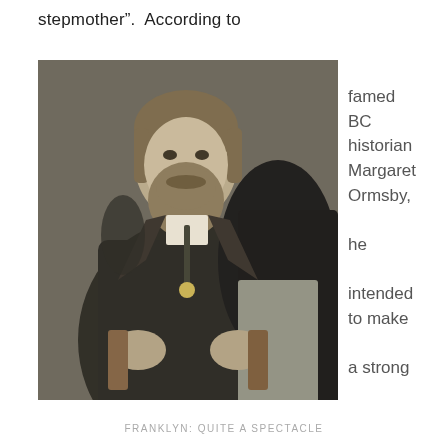stepmother”.  According to
[Figure (photo): Black and white historical photograph of a bearded man seated, wearing a dark suit, 19th century style portrait]
famed BC historian Margaret Ormsby, he intended to make a strong
FRANKLYN: QUITE A SPECTACLE